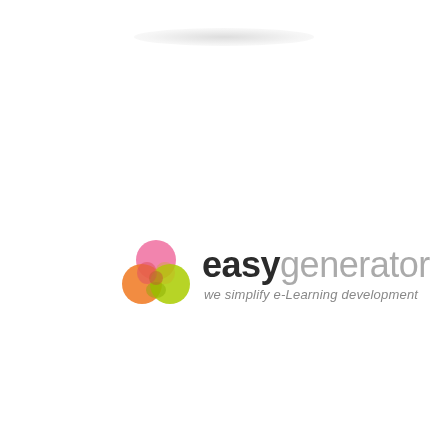[Figure (logo): Easygenerator logo: three overlapping circles (pink, red/salmon, orange, green) forming a Venn-diagram style icon, followed by the brand name 'easy' in dark bold and 'generator' in light gray, with tagline 'we simplify e-Learning development' in italic gray below.]